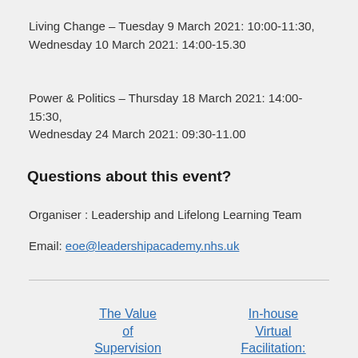Living Change – Tuesday 9 March 2021: 10:00-11:30, Wednesday 10 March 2021: 14:00-15.30
Power & Politics – Thursday 18 March 2021: 14:00-15:30, Wednesday 24 March 2021: 09:30-11.00
Questions about this event?
Organiser : Leadership and Lifelong Learning Team
Email: eoe@leadershipacademy.nhs.uk
The Value of Supervision
In-house Virtual Facilitation: